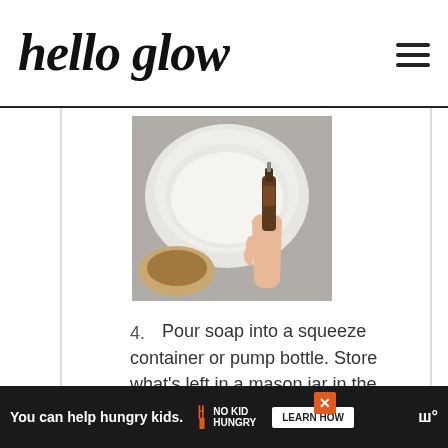hello glow
[Figure (photo): Overhead view of a white bowl with milky liquid, a hand holding a small brown dropper bottle over the bowl, and a small wooden bowl in the background, on a textured surface.]
4. Pour soap into a squeeze container or pump bottle. Store what's left in a mason jar in the fridge until ready to use (it should keep for several months in the refrigerator).
You can help hungry kids. NO KID HUNGRY LEARN HOW